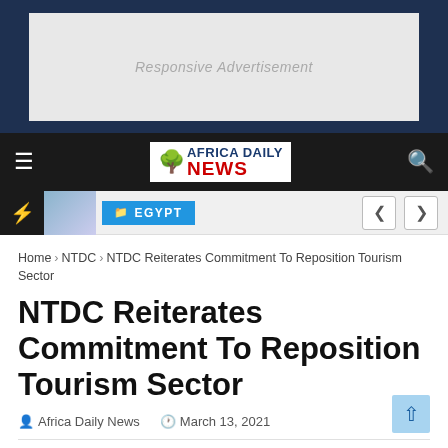[Figure (other): Responsive Advertisement banner placeholder on dark blue background]
Africa Daily News — navigation bar with hamburger menu, logo, and search icon
EGYPT
Home > NTDC > NTDC Reiterates Commitment To Reposition Tourism Sector
NTDC Reiterates Commitment To Reposition Tourism Sector
Africa Daily News  March 13, 2021